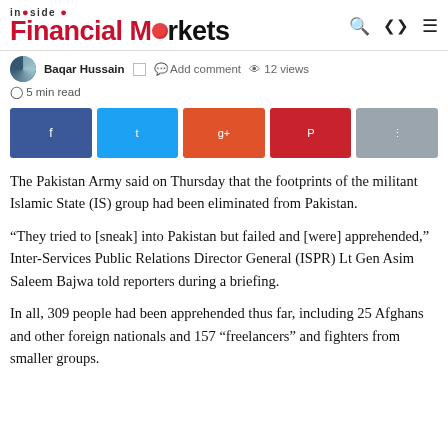inside Financial Markets
Baqar Hussain  Add comment  12 views
5 min read
[Figure (infographic): Social sharing buttons: Facebook (dark blue), Twitter (light blue), Google+ (orange), Pinterest (red), grey share button]
The Pakistan Army said on Thursday that the footprints of the militant Islamic State (IS) group had been eliminated from Pakistan.
“They tried to [sneak] into Pakistan but failed and [were] apprehended,” Inter-Services Public Relations Director General (ISPR) Lt Gen Asim Saleem Bajwa told reporters during a briefing.
In all, 309 people had been apprehended thus far, including 25 Afghans and other foreign nationals and 157 “freelancers” and fighters from smaller groups.